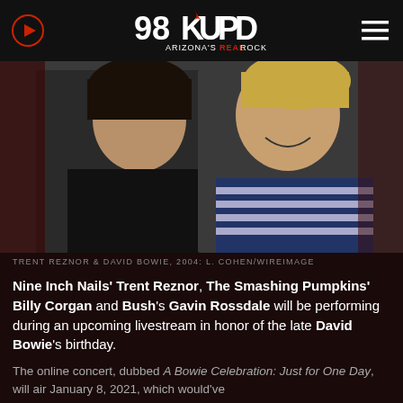98KUPD — ARIZONA'S REAL ROCK
[Figure (photo): Trent Reznor and David Bowie standing together smiling, black and white/color photo, 2004]
TRENT REZNOR & DAVID BOWIE, 2004: L. COHEN/WIREIMAGE
Nine Inch Nails' Trent Reznor, The Smashing Pumpkins' Billy Corgan and Bush's Gavin Rossdale will be performing during an upcoming livestream in honor of the late David Bowie's birthday.
The online concert, dubbed A Bowie Celebration: Just for One Day, will air January 8, 2021, which would've